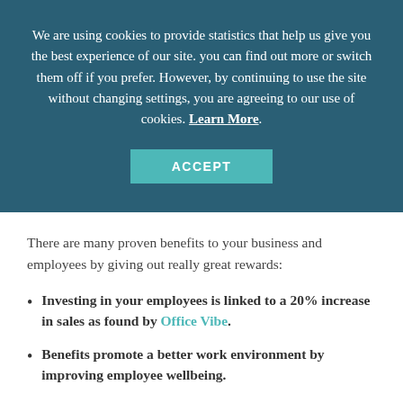We are using cookies to provide statistics that help us give you the best experience of our site. you can find out more or switch them off if you prefer. However, by continuing to use the site without changing settings, you are agreeing to our use of cookies. Learn More.
ACCEPT
There are many proven benefits to your business and employees by giving out really great rewards:
Investing in your employees is linked to a 20% increase in sales as found by Office Vibe.
Benefits promote a better work environment by improving employee wellbeing.
Fewer sick days as shown by the Gallup Poll in 2011. They found that engaged employees took 3.5 fewer